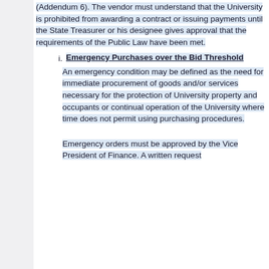(Addendum 6). The vendor must understand that the University is prohibited from awarding a contract or issuing payments until the State Treasurer or his designee gives approval that the requirements of the Public Law have been met.
Emergency Purchases over the Bid Threshold
An emergency condition may be defined as the need for immediate procurement of goods and/or services necessary for the protection of University property and occupants or continual operation of the University where time does not permit using purchasing procedures.
Emergency orders must be approved by the Vice President of Finance. A written request